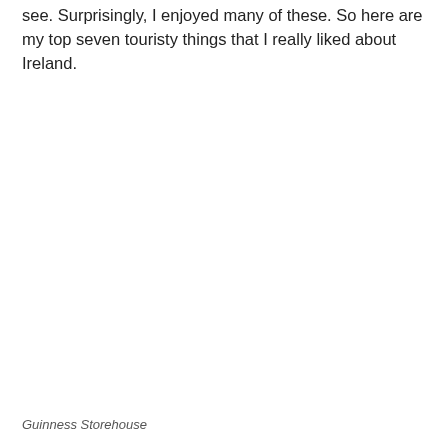see. Surprisingly, I enjoyed many of these. So here are my top seven touristy things that I really liked about Ireland.
Guinness Storehouse